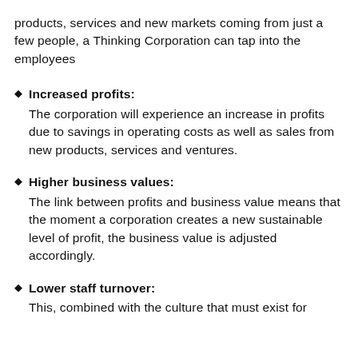products, services and new markets coming from just a few people, a Thinking Corporation can tap into the employees
Increased profits: The corporation will experience an increase in profits due to savings in operating costs as well as sales from new products, services and ventures.
Higher business values: The link between profits and business value means that the moment a corporation creates a new sustainable level of profit, the business value is adjusted accordingly.
Lower staff turnover: This, combined with the culture that must exist for